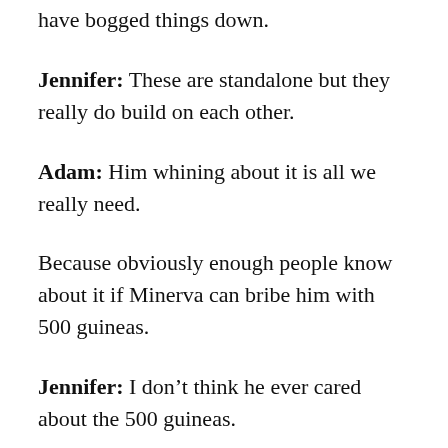have bogged things down.
Jennifer: These are standalone but they really do build on each other.
Adam: Him whining about it is all we really need.
Because obviously enough people know about it if Minerva can bribe him with 500 guineas.
Jennifer: I don't think he ever cared about the 500 guineas.
And I'm too lazy to google. Is a guinea more than a pound?